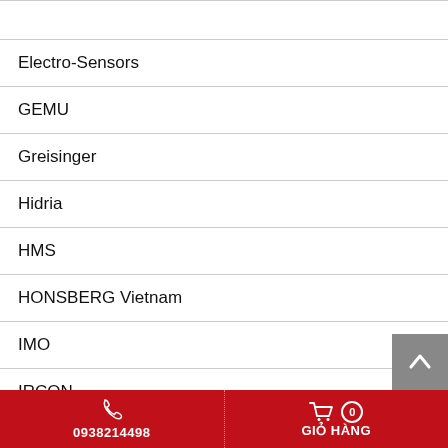Electro-Sensors
GEMU
Greisinger
Hidria
HMS
HONSBERG Vietnam
IMO
IRCON
Keller MSR
MAFELEC
MANKENBERG
0938214498   GIỎ HÀNG 0